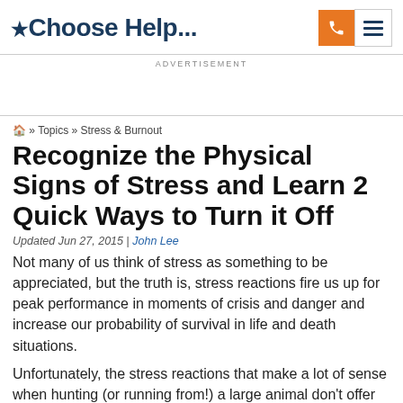*Choose Help...
ADVERTISEMENT
⌂ » Topics » Stress & Burnout
Recognize the Physical Signs of Stress and Learn 2 Quick Ways to Turn it Off
Updated Jun 27, 2015 | John Lee
Not many of us think of stress as something to be appreciated, but the truth is, stress reactions fire us up for peak performance in moments of crisis and danger and increase our probability of survival in life and death situations.
Unfortunately, the stress reactions that make a lot of sense when hunting (or running from!) a large animal don't offer much of an advantage when lineups at the DMV get your